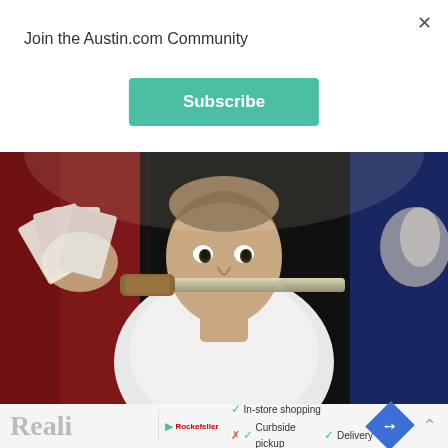Join the Austin.com Community
Subscribe
[Figure (photo): A man in a white shirt holding playing cards in one hand and biting a large knife, performing on a stage with red and blue curtain backdrop.]
Reali   ▶ [logo]  ✓ In-store shopping  ✓ Curbside pickup  ✓ Delivery  ✗